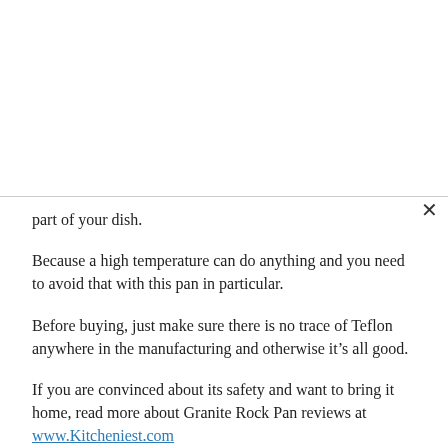part of your dish.
Because a high temperature can do anything and you need to avoid that with this pan in particular.
Before buying, just make sure there is no trace of Teflon anywhere in the manufacturing and otherwise it’s all good.
If you are convinced about its safety and want to bring it home, read more about Granite Rock Pan reviews at www.Kitcheniest.com
Does Granite rock pan need to be seasoned?
This has to be decided by you because Granite rock pans already